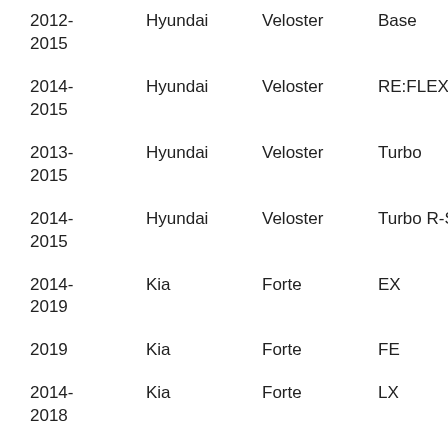| 2012-2015 | Hyundai | Veloster | Base |
| 2014-2015 | Hyundai | Veloster | RE:FLEX |
| 2013-2015 | Hyundai | Veloster | Turbo |
| 2014-2015 | Hyundai | Veloster | Turbo R-Spec |
| 2014-2019 | Kia | Forte | EX |
| 2019 | Kia | Forte | FE |
| 2014-2018 | Kia | Forte | LX |